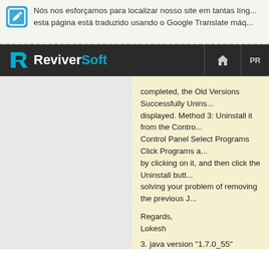Nós nos esforçamos para localizar nosso site em tantas línguas... esta página está traduzido usando o Google Translate máq...
[Figure (logo): ReviverSoft logo with white R on dark background and teal highlight, with navigation bar including home icon and PR text]
completed, the Old Versions Successfully Unins... displayed. Method 3: Uninstall it from the Contro... Control Panel Select Programs Click Programs a... by clicking on it, and then click the Uninstall butt... solving your problem of removing the previous J...
Regards,
Lokesh
3. java version "1.7.0_55"
In order to remove previous versions of Java an... can use the below methods.
Method 1: Enable the latest installed version of J... Panel In the Java Control Panel, click on the Jav... display the Java Runtime Environment Settings V... Runtime version is enabled by checking the Ena...
[Figure (screenshot): Broken image placeholder icon]
Click OK to save settings Click OK in Java Cont...